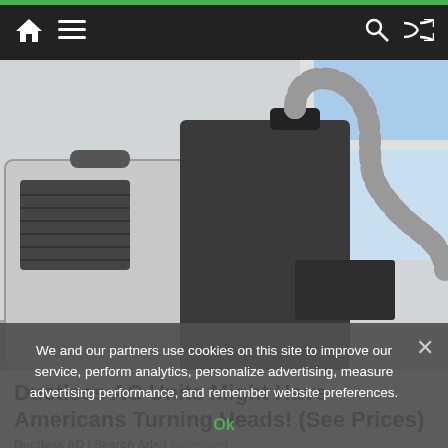Navigation bar with home, menu, search, shuffle icons
[Figure (photo): Portable ductless AC unit with flexible exhaust hose connected to a window, indoor setting with grey walls]
Ductless AC Units Might Have Americans Turning Heads! (See Prices)
Ductless AD | Search Ads | Sponsored
We and our partners use cookies on this site to improve our service, perform analytics, personalize advertising, measure advertising performance, and remember website preferences.
Ok